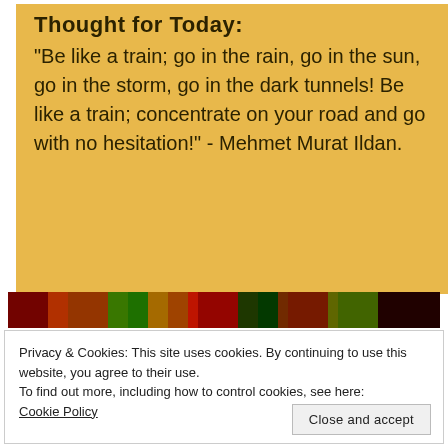Thought for Today:
“Be like a train; go in the rain, go in the sun, go in the storm, go in the dark tunnels! Be like a train; concentrate on your road and go with no hesitation!” - Mehmet Murat Ildan.
[Figure (photo): Colorful abstract image strip at top of lower section]
Privacy & Cookies: This site uses cookies. By continuing to use this website, you agree to their use.
To find out more, including how to control cookies, see here: Cookie Policy
Close and accept